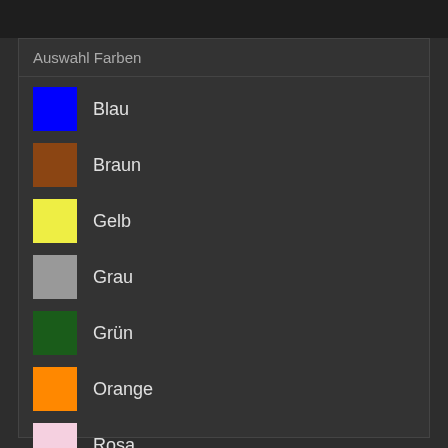Auswahl Farben
Blau
Braun
Gelb
Grau
Grün
Orange
Rosa
Rot
Schwarz